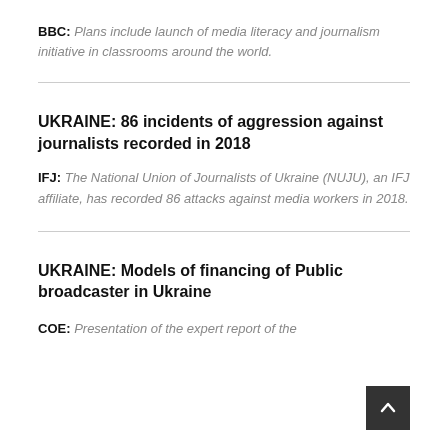BBC: Plans include launch of media literacy and journalism initiative in classrooms around the world.
UKRAINE: 86 incidents of aggression against journalists recorded in 2018
IFJ: The National Union of Journalists of Ukraine (NUJU), an IFJ affiliate, has recorded 86 attacks against media workers in 2018.
UKRAINE: Models of financing of Public broadcaster in Ukraine
COE: Presentation of the expert report of the